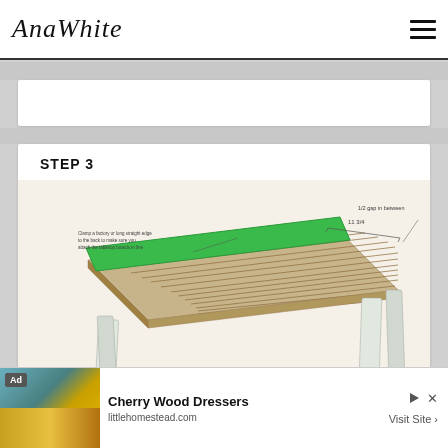AnaWhite
STEP 3
[Figure (engineering-diagram): 3D illustration of a wooden table with slat top surface. A green board/straight edge is clamped along the back edge of the tabletop. Annotation text reads: 'Clamp a factory or long straight edge to the back to make sure you attach the tabletop boards in line'. Dimension lines show '11 3/4' and '1/2 gap in between' labels. The table has white/grey metal legs and natural wood slat top boards.]
Ad   Cherry Wood Dressers   littlehomestead.com   Visit Site